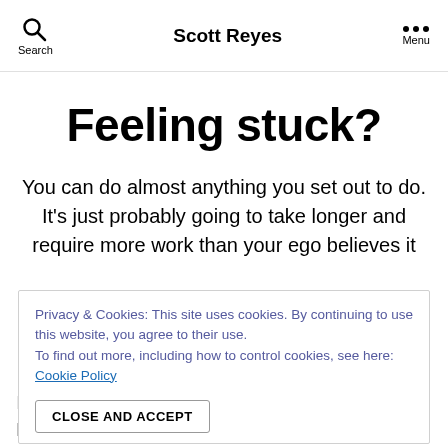Search  Scott Reyes  Menu
Feeling stuck?
You can do almost anything you set out to do. It's just probably going to take longer and require more work than your ego believes it
Privacy & Cookies: This site uses cookies. By continuing to use this website, you agree to their use.
To find out more, including how to control cookies, see here: Cookie Policy
CLOSE AND ACCEPT
It breaks my heart when people feel stuck. I know exactly that feeling. I also know how exhilarating it is to have a break-through.